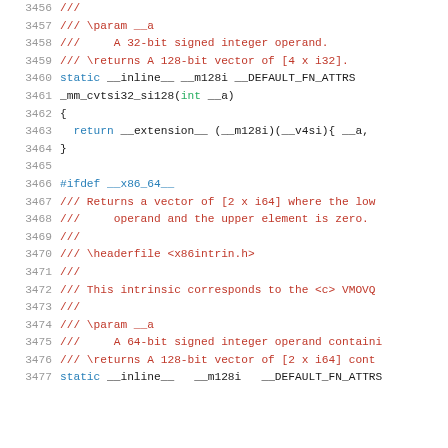[Figure (screenshot): Source code listing lines 3456-3477 showing C/C++ inline function definitions with Doxygen comments for _mm_cvtsi32_si128 and start of another function, with line numbers in grey, keywords in blue, comments in red, and function parameters in green.]